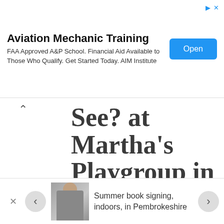[Figure (screenshot): Advertisement banner for Aviation Mechanic Training with Open button]
See? at Martha's Playgroup in Golders Green
Jason has presented one of his new children's picture books, What Can You See?, at Martha's Playgroup at Golders Green Parish Church in the...
Summer book signing, indoors, in Pembrokeshire